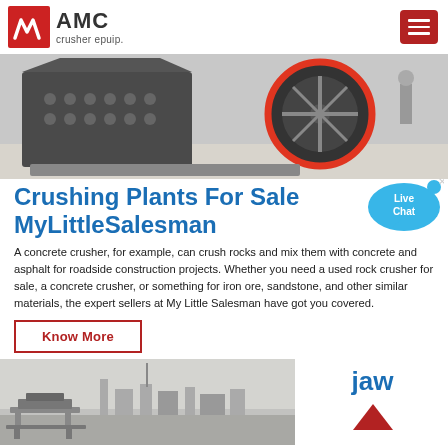AMC crusher epuip.
[Figure (photo): Industrial crusher machine with large red-rimmed flywheel on factory floor]
Crushing Plants For Sale MyLittleSalesman
A concrete crusher, for example, can crush rocks and mix them with concrete and asphalt for roadside construction projects. Whether you need a used rock crusher for sale, a concrete crusher, or something for iron ore, sandstone, and other similar materials, the expert sellers at My Little Salesman have got you covered.
Know More
[Figure (photo): Industrial cityscape with a pagoda/bench structure in the foreground, hazy sky]